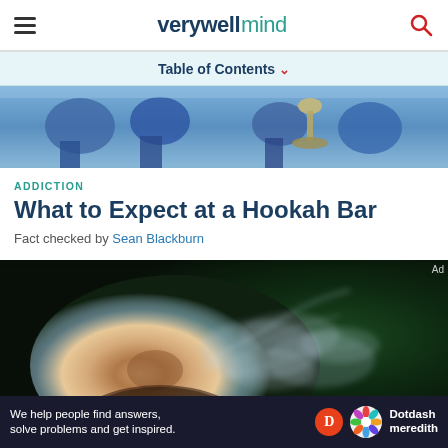verywell mind
Table of Contents
[Figure (photo): Top portion of a hookah bar scene showing blue chairs and a hookah pipe in blurred background]
ADDICTION
What to Expect at a Hookah Bar
Fact checked by Sean Blackburn
[Figure (photo): Close-up of a person exhaling smoke from a hookah, smoke curling in front of a dark green background]
Ad
We help people find answers, solve problems and get inspired. Dotdash meredith